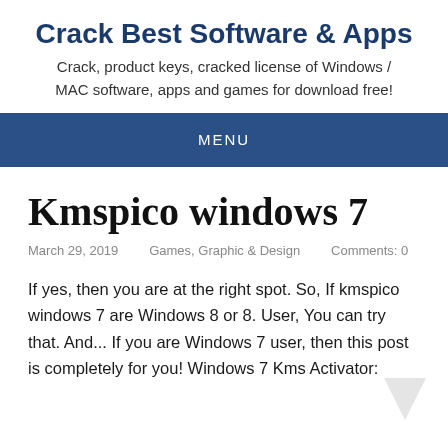Crack Best Software & Apps
Crack, product keys, cracked license of Windows / MAC software, apps and games for download free!
MENU
Kmspico windows 7
March 29, 2019    Games, Graphic & Design    Comments: 0
If yes, then you are at the right spot. So, If kmspico windows 7 are Windows 8 or 8. User, You can try that. And... If you are Windows 7 user, then this post is completely for you! Windows 7 Kms Activator: